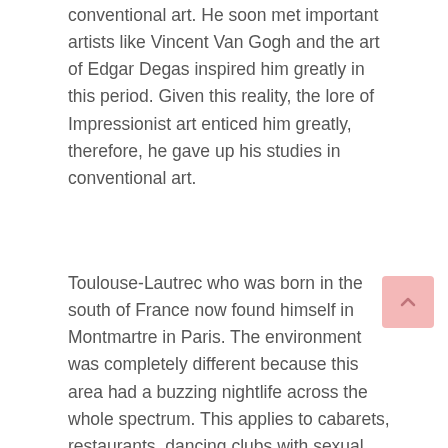conventional art. He soon met important artists like Vincent Van Gogh and the art of Edgar Degas inspired him greatly in this period. Given this reality, the lore of Impressionist art enticed him greatly, therefore, he gave up his studies in conventional art.
Toulouse-Lautrec who was born in the south of France now found himself in Montmartre in Paris. The environment was completely different because this area had a buzzing nightlife across the whole spectrum. This applies to cabarets, restaurants, dancing clubs with sexual connotations, cafes, brothels, and other areas of life.